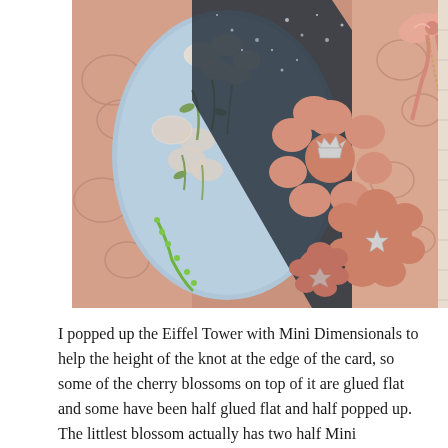[Figure (photo): Close-up photo of a handmade greeting card featuring pink/peach cherry blossom flowers, a blue oval with embroidered floral design, dark glittery ribbon/band, pink satin bow in upper right corner, and silver metallic embellishments on the peach flower clusters.]
I popped up the Eiffel Tower with Mini Dimensionals to help the height of the knot at the edge of the card, so some of the cherry blossoms on top of it are glued flat and some have been half glued flat and half popped up. The littlest blossom actually has two half Mini Dimensionals